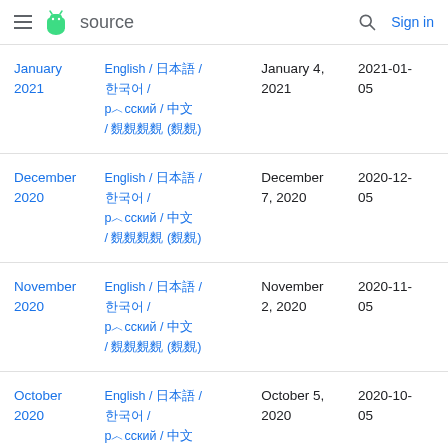≡  source  🔍  Sign in
|  | Languages | Date | Tag |
| --- | --- | --- | --- |
| January 2021 | English / 日本語 / 한국어 / рýсский / 中文 / বাংলা (বাং) | January 4, 2021 | 2021-01-05 |
| December 2020 | English / 日本語 / 한국어 / рýсский / 中文 / বাংলা (বাং) | December 7, 2020 | 2020-12-05 |
| November 2020 | English / 日本語 / 한국어 / рýсский / 中文 / বাংলা (বাং) | November 2, 2020 | 2020-11-05 |
| October 2020 | English / 日本語 / 한국어 / рýсский / 中文 / বাংলা (বাং) | October 5, 2020 | 2020-10-05 |